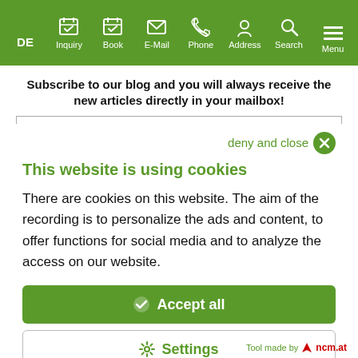[Figure (screenshot): Green navigation bar with icons for DE, Inquiry, Book, E-Mail, Phone, Address, Search, and Menu]
Subscribe to our blog and you will always receive the new articles directly in your mailbox!
deny and close
This website is using cookies
There are cookies on this website. The aim of the recording is to personalize the ads and content, to offer functions for social media and to analyze the access on our website.
✔ Accept all
⚙ Settings
Tool made by ncm.at